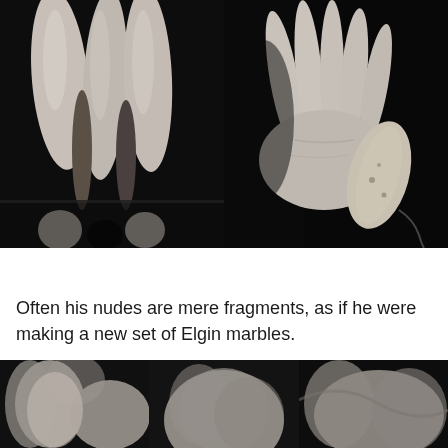[Figure (photo): Two black and white photographs side by side: left shows bare human legs from thigh to ankle against a dark background; right shows a close-up of a human hand grasping a root vegetable (possibly a parsnip or similar) against a dark background.]
Often his nudes are mere fragments, as if he were making a new set of Elgin marbles.
[Figure (photo): Three black and white photographs in a row showing close-up fragments of nude human bodies: left shows an arm/torso area, center shows a rounded body fragment, right shows curved body contours.]